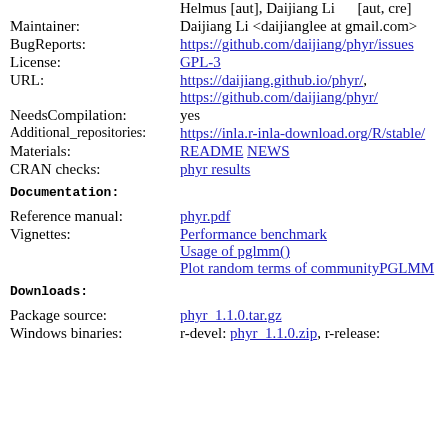Helmus [aut], Daijiang Li [aut, cre]
Maintainer: Daijiang Li <daijianglee at gmail.com>
BugReports: https://github.com/daijiang/phyr/issues
License: GPL-3
URL: https://daijiang.github.io/phyr/, https://github.com/daijiang/phyr/
NeedsCompilation: yes
Additional_repositories: https://inla.r-inla-download.org/R/stable/
Materials: README NEWS
CRAN checks: phyr results
Documentation:
Reference manual: phyr.pdf
Vignettes: Performance benchmark, Usage of pglmm(), Plot random terms of communityPGLMM
Downloads:
Package source: phyr_1.1.0.tar.gz
Windows binaries: r-devel: phyr_1.1.0.zip, r-release: